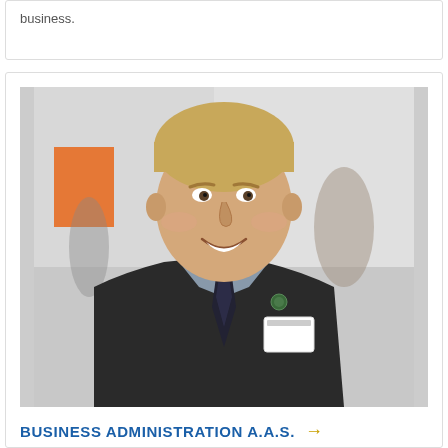business.
[Figure (photo): Young man in a dark suit, grey shirt, and dark tie with a pin on his lapel, smiling at a career fair or similar event, with blurred background showing other attendees and signage.]
BUSINESS ADMINISTRATION A.A.S. →